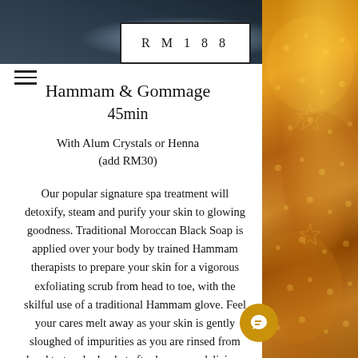[Figure (photo): Top portion showing a water or pool scene with dark tones]
RM188
Hammam & Gommage
45min
With Alum Crystals or Henna
(add RM30)
Our popular signature spa treatment will detoxify, steam and purify your skin to glowing goodness. Traditional Moroccan Black Soap is applied over your body by trained Hammam therapists to prepare your skin for a vigorous exfoliating scrub from head to toe, with the skilful use of a traditional Hammam glove. Feel your cares melt away as your skin is gently sloughed of impurities as you are rinsed from head to toe, by bucket after bucket of delicious water.
[Figure (photo): Decorative Moroccan pattern panel on the right side, golden/amber tones with ornate lattice designs]